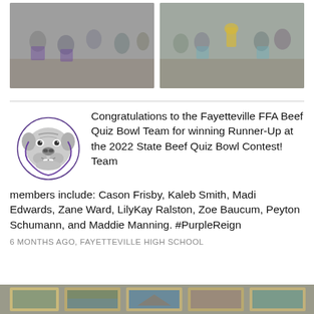[Figure (photo): Left photo: group of students in purple FFA shirts posing outside a brick building, some crouching, some standing, smiling at camera.]
[Figure (photo): Right photo: group of students standing outside a brick building, one holding a trophy, smiling at camera.]
[Figure (logo): Fayetteville Bulldogs mascot logo — grey bulldog head with purple outline.]
Congratulations to the Fayetteville FFA Beef Quiz Bowl Team for winning Runner-Up at the 2022 State Beef Quiz Bowl Contest! Team members include: Cason Frisby, Kaleb Smith, Madi Edwards, Zane Ward, LilyKay Ralston, Zoe Baucum, Peyton Schumann, and Maddie Manning. #PurpleReign
6 MONTHS AGO, FAYETTEVILLE HIGH SCHOOL
[Figure (photo): Bottom strip showing partial view of framed photos/awards displayed on a surface.]